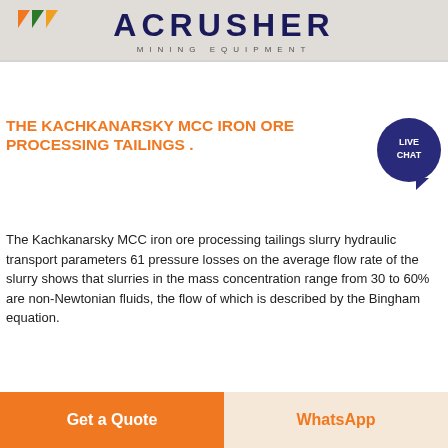[Figure (logo): ACRUSHER Mining Equipment logo banner with stylized text and decorative flag element]
THE KACHKANARSKY MCC IRON ORE PROCESSING TAILINGS .
[Figure (illustration): Live Chat speech bubble icon with dark blue background]
The Kachkanarsky MCC iron ore processing tailings slurry hydraulic transport parameters 61 pressure losses on the average flow rate of the slurry shows that slurries in the mass concentration range from 30 to 60% are non-Newtonian fluids, the flow of which is described by the Bingham equation.
Learn More →
[Figure (photo): Industrial mining conveyor belt structure with orange metal framework and crane equipment against a light sky background]
Get a Quote
WhatsApp